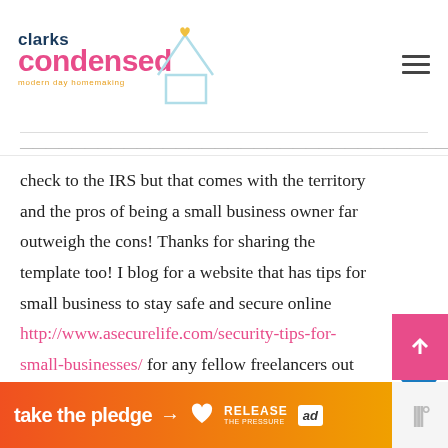clarks condensed — modern day homemaking
check to the IRS but that comes with the territory and the pros of being a small business owner far outweigh the cons! Thanks for sharing the template too! I blog for a website that has tips for small business to stay safe and secure online http://www.asecurelife.com/security-tips-for-small-businesses/ for any fellow freelancers out there. Thanks again and keep up the great work!
REPLY
WHAT'S NEXT → Tips for Registering...
KATIE SAYS
[Figure (infographic): take the pledge → banner advertisement with RELEASE branding and ad badge]
[Figure (logo): Clarks Condensed logo with house illustration and tagline modern day homemaking]